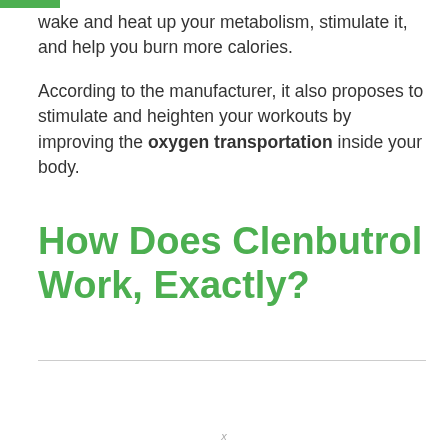wake and heat up your metabolism, stimulate it, and help you burn more calories.

According to the manufacturer, it also proposes to stimulate and heighten your workouts by improving the oxygen transportation inside your body.
How Does Clenbutrol Work, Exactly?